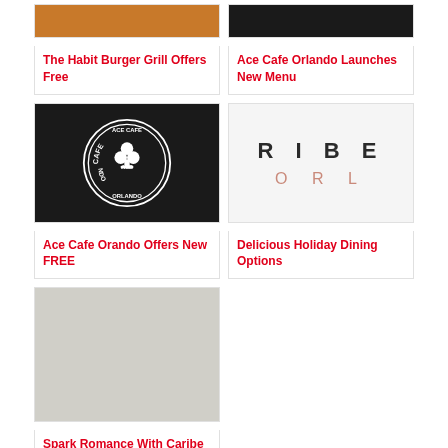[Figure (photo): Burger image - The Habit Burger Grill]
The Habit Burger Grill Offers Free
[Figure (photo): Ace Cafe Orlando dark image]
Ace Cafe Orlando Launches New Menu
[Figure (logo): Ace Cafe Orlando round badge logo with clover on dark background]
Ace Cafe Orando Offers New FREE
[Figure (logo): TRIBE ORL text logo - dark grey and salmon/pink letters]
Delicious Holiday Dining Options
[Figure (photo): Caribe Royale image - light beige/grey background]
Spark Romance With Caribe Royale